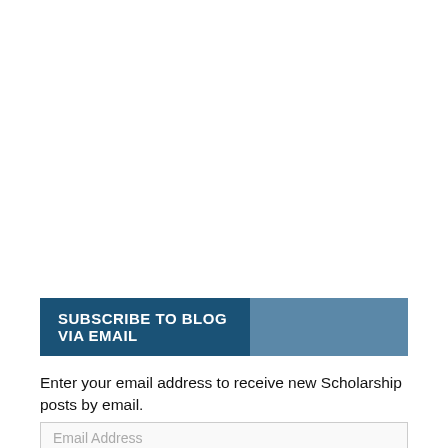SUBSCRIBE TO BLOG VIA EMAIL
Enter your email address to receive new Scholarship posts by email.
Email Address